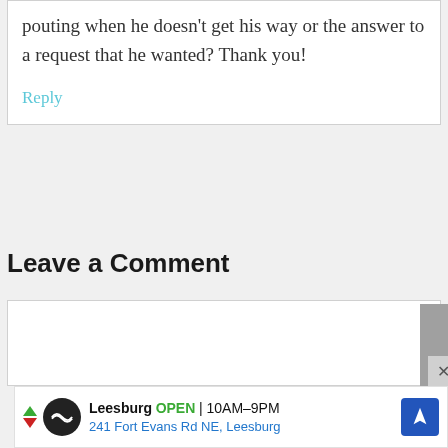pouting when he doesn't get his way or the answer to a request that he wanted? Thank you!
Reply
Leave a Comment
[Figure (screenshot): Empty comment text input box with a scroll handle on the right side]
[Figure (infographic): Advertisement bar: Leesburg OPEN 10AM-9PM, 241 Fort Evans Rd NE, Leesburg with navigation icon]